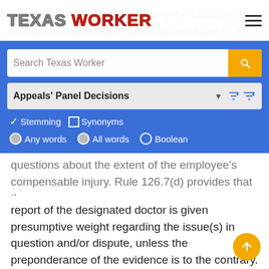Texas Worker
Section 408.0041(a) provides in pertinent part that at the request of an insurance carrier or an employee, or on the commissioner's own order, the commissioner may order a medical examination to resolve any question about the extent of the employee's compensable injury. 28 TEX. ADMIN. CODE § 126.7(c) (Rule 126.7(c))[1] provides in pertinent part that a designated doctor examination shall be used to resolve questions about the extent of the employee's compensable injury. Rule 126.7(d) provides that the report of the designated doctor is given presumptive weight regarding the issue(s) in question and/or dispute, unless the preponderance of the evidence is to the contrary.
(Dr. K), the claimant's treating doctor, in a letter dated October 27, 2009, stated: